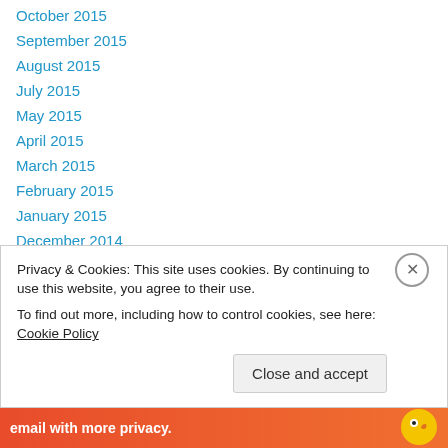October 2015
September 2015
August 2015
July 2015
May 2015
April 2015
March 2015
February 2015
January 2015
December 2014
November 2014
October 2014
September 2014
Privacy & Cookies: This site uses cookies. By continuing to use this website, you agree to their use.
To find out more, including how to control cookies, see here: Cookie Policy
Close and accept